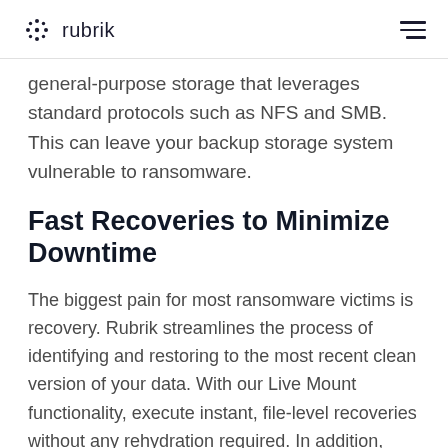rubrik
general-purpose storage that leverages standard protocols such as NFS and SMB. This can leave your backup storage system vulnerable to ransomware.
Fast Recoveries to Minimize Downtime
The biggest pain for most ransomware victims is recovery. Rubrik streamlines the process of identifying and restoring to the most recent clean version of your data. With our Live Mount functionality, execute instant, file-level recoveries without any rehydration required. In addition, plug